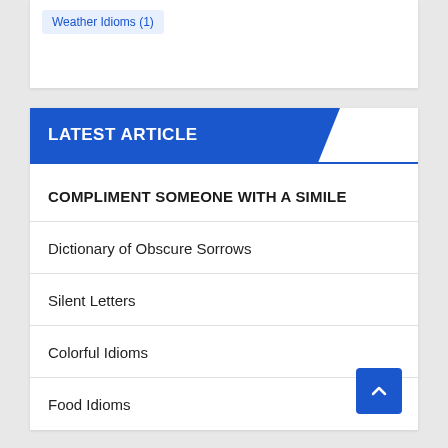Weather Idioms (1)
LATEST ARTICLE
COMPLIMENT SOMEONE WITH A SIMILE
Dictionary of Obscure Sorrows
Silent Letters
Colorful Idioms
Food Idioms